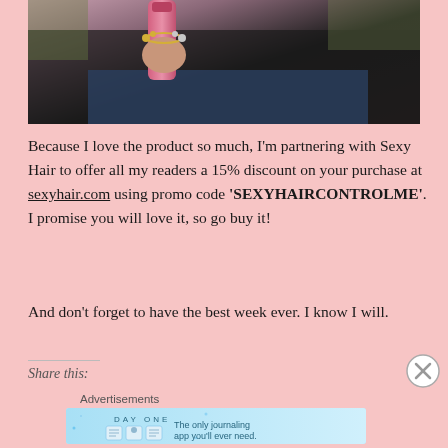[Figure (photo): Person's hand holding a pink hair product spray can, wearing a charm bracelet, dressed in dark clothing and jeans, outdoor setting]
Because I love the product so much, I'm partnering with Sexy Hair to offer all my readers a 15% discount on your purchase at sexyhair.com using promo code 'SEXYHAIRCONTROLME'. I promise you will love it, so go buy it!
And don't forget to have the best week ever. I know I will.
Share this:
Advertisements
[Figure (screenshot): Day One journaling app advertisement banner: 'The only journaling app you'll ever need.' with icons for book, person, and notepad on a light blue background]